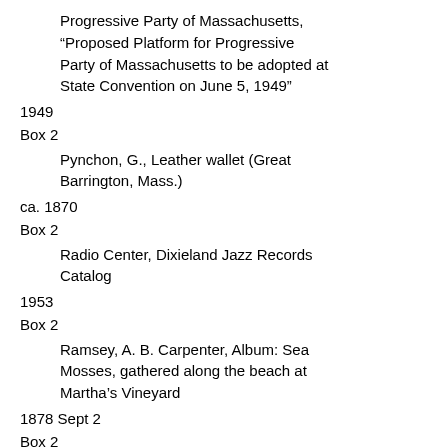Progressive Party of Massachusetts, “Proposed Platform for Progressive Party of Massachusetts to be adopted at State Convention on June 5, 1949”
1949
Box 2
Pynchon, G., Leather wallet (Great Barrington, Mass.)
ca. 1870
Box 2
Radio Center, Dixieland Jazz Records Catalog
1953
Box 2
Ramsey, A. B. Carpenter, Album: Sea Mosses, gathered along the beach at Martha’s Vineyard
1878 Sept 2
Box 2
RCA Records, Vintage Series catalog
1972